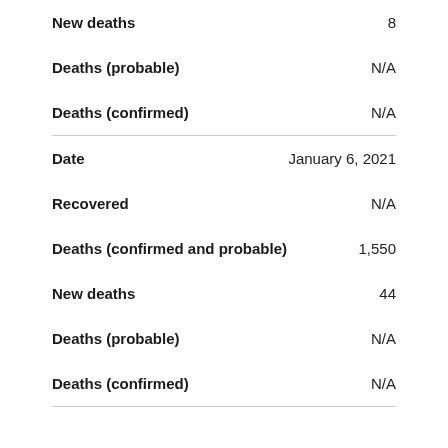| Field | Value |
| --- | --- |
| New deaths | 8 |
| Deaths (probable) | N/A |
| Deaths (confirmed) | N/A |
| Date | January 6, 2021 |
| Recovered | N/A |
| Deaths (confirmed and probable) | 1,550 |
| New deaths | 44 |
| Deaths (probable) | N/A |
| Deaths (confirmed) | N/A |